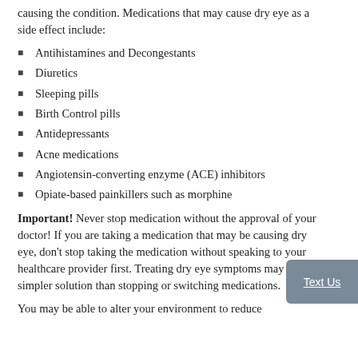causing the condition. Medications that may cause dry eye as a side effect include:
Antihistamines and Decongestants
Diuretics
Sleeping pills
Birth Control pills
Antidepressants
Acne medications
Angiotensin-converting enzyme (ACE) inhibitors
Opiate-based painkillers such as morphine
Important! Never stop medication without the approval of your doctor! If you are taking a medication that may be causing dry eye, don't stop taking the medication without speaking to your healthcare provider first. Treating dry eye symptoms may be a simpler solution than stopping or switching medications.
You may be able to alter your environment to reduce